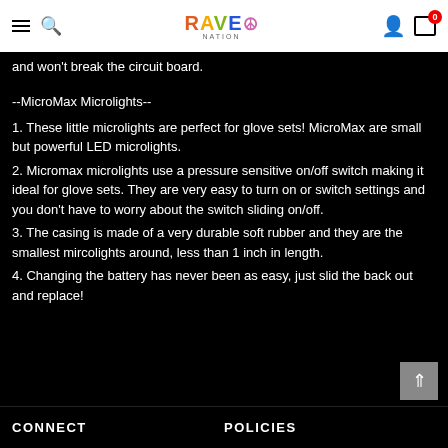RAVE nation [logo with navigation icons]
and won't break the circuit board.
--MicroMax Microlights--
1. These little microlights are perfect for glove sets! MicroMax are small but powerful LED microlights.
2. Micromax microlights use a pressure sensitive on/off switch making it ideal for glove sets. They are very easy to turn on or switch settings and you don't have to worry about the switch sliding on/off.
3. The casing is made of a very durable soft rubber and they are the smallest mircolights around, less than 1 inch in length.
4. Changing the battery has never been as easy, just slid the back out and replace!
CONNECT    POLICIES